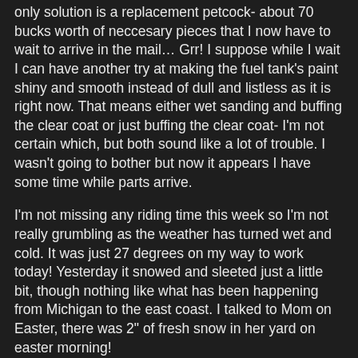only solution is a replacement petcock- about 70 bucks worth of neccesary pieces that I now have to wait to arrive in the mail… Grr! I suppose while I wait I can have another try at making the fuel tank's paint shiny and smooth instead of dull and listless as it is right now. That means either wet sanding and buffing the clear coat or just buffing the clear coat- I'm not certain which, but both sound like a lot of trouble. I wasn't going to bother but now it appears I have some time while parts arrive.
I'm not missing any riding time this week so I'm not really grumbling as the weather has turned wet and cold. It was just 27 degrees on my way to work today! Yesterday it snowed and sleeted just a little bit, though nothing like what has been happening from Michigan to the east coast. I talked to Mom on Easter, there was 2" of fresh snow in her yard on easter morning!
I am continuing to improve from my surgery, with less tiredness and soreness. I'm also back to regular practice with my guitar and I'm planning to return to class on Thursday afternoon. Reading music notes on a page and